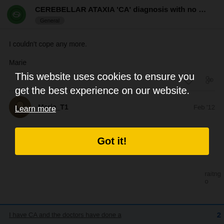CEREBELLAR ATAXIA 'CA' diagnosis with no … — General
I couldn't cope any more.
Marie
Marie_T1 — Feb '12
This website uses cookies to ensure you get the best experience on our website.
Learn more
Got it!
I have CA and the doctors have done a